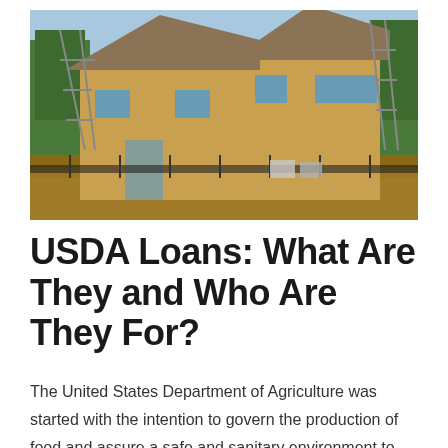[Figure (photo): A house under construction with wooden framing, exposed beams and studs, surrounded by dirt and construction materials. Trees visible in background under blue sky.]
USDA Loans: What Are They and Who Are They For?
The United States Department of Agriculture was started with the intention to govern the production of food and assure a safe and sanitary environment to prevent the general population